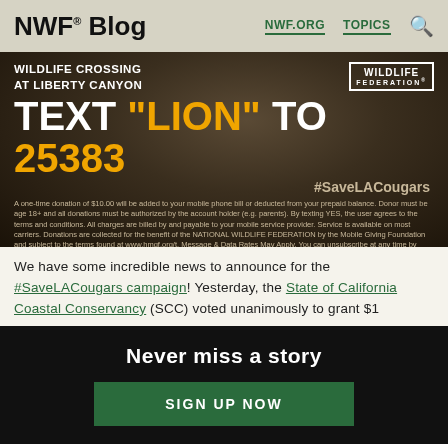NWF® Blog   NWF.ORG   TOPICS   🔍
[Figure (photo): Wildlife crossing at Liberty Canyon campaign banner. Dark background with mountain lion. Text: WILDLIFE CROSSING AT LIBERTY CANYON. TEXT "LION" TO 25383. #SaveLACougars. Disclaimer text. Wildlife Federation logo top right.]
We have some incredible news to announce for the #SaveLACougars campaign! Yesterday, the State of California Coastal Conservancy (SCC) voted unanimously to grant $1
Never miss a story
SIGN UP NOW